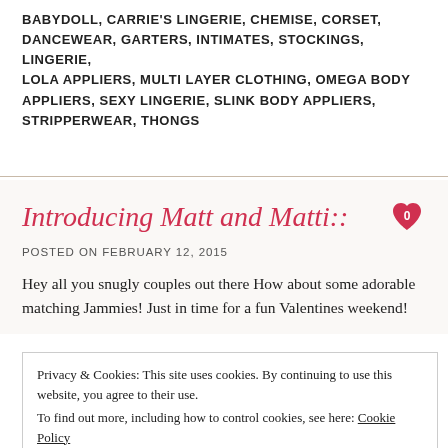BABYDOLL, CARRIE'S LINGERIE, CHEMISE, CORSET, DANCEWEAR, GARTERS, INTIMATES, STOCKINGS, LINGERIE, LOLA APPLIERS, MULTI LAYER CLOTHING, OMEGA BODY APPLIERS, SEXY LINGERIE, SLINK BODY APPLIERS, STRIPPERWEAR, THONGS
Introducing Matt and Matti::
POSTED ON FEBRUARY 12, 2015
Hey all you snugly couples out there How about some adorable matching Jammies! Just in time for a fun Valentines weekend!
Privacy & Cookies: This site uses cookies. By continuing to use this website, you agree to their use.
To find out more, including how to control cookies, see here: Cookie Policy